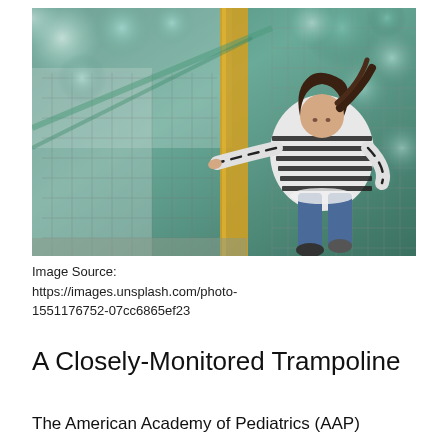[Figure (photo): A child jumping on a trampoline inside an indoor trampoline park, wearing a black and white striped long-sleeve shirt and jeans, surrounded by safety netting and blurred green bokeh balls in the background.]
Image Source: https://images.unsplash.com/photo-1551176752-07cc6865ef23
A Closely-Monitored Trampoline
The American Academy of Pediatrics (AAP)